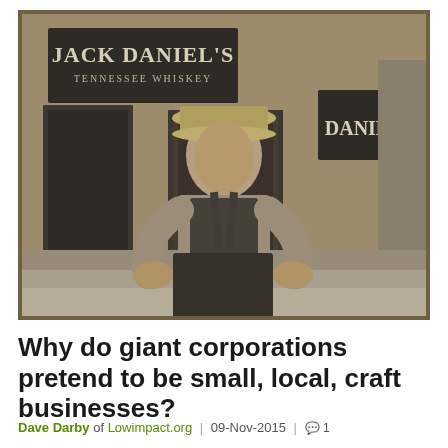[Figure (photo): Black and white photograph of an elderly man wearing overalls and a straw hat, standing in front of a Jack Daniel's Tennessee Whiskey store front/sign. The photo has a vintage, slightly worn border effect.]
Why do giant corporations pretend to be small, local, craft businesses?
Dave Darby of Lowimpact.org | 09-Nov-2015 | 1